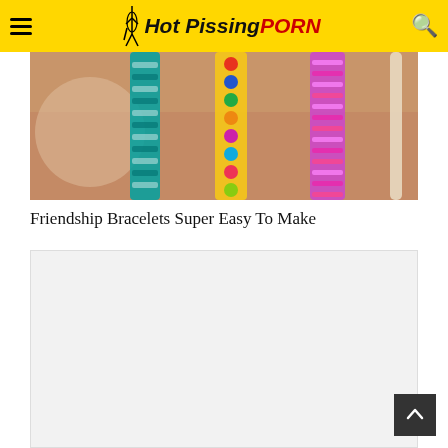Hot Pissing PORN
[Figure (photo): A wrist wearing multiple colorful friendship bracelets including teal, multicolor, pink/purple, and a plain cord bracelet]
Friendship Bracelets Super Easy To Make
[Figure (other): Light gray content/advertisement placeholder box]